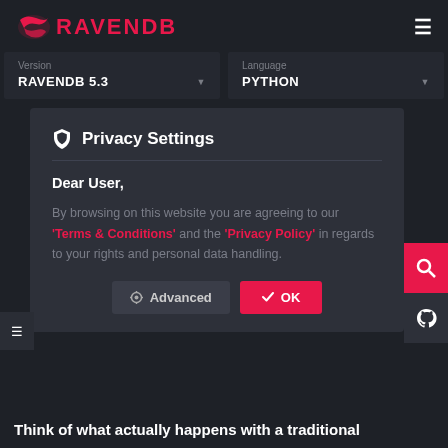RAVENDB
Version
RAVENDB 5.3
Language
PYTHON
Privacy Settings
Dear User,
By browsing on this website you are agreeing to our 'Terms & Conditions' and the 'Privacy Policy' in regards to your rights and personal data handling.
Think of what actually happens with a traditional
Advanced
OK